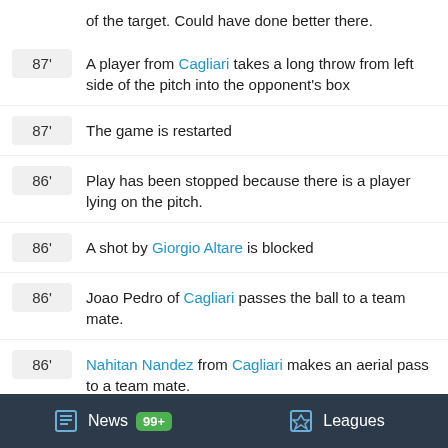of the target. Could have done better there.
87' A player from Cagliari takes a long throw from left side of the pitch into the opponent's box
87' The game is restarted
86' Play has been stopped because there is a player lying on the pitch.
86' A shot by Giorgio Altare is blocked
86' Joao Pedro of Cagliari passes the ball to a team mate.
86' Nahitan Nandez from Cagliari makes an aerial pass to a team mate.
86' Mattia Caldara relieves the pressure with a clearance
News 99+ Leagues